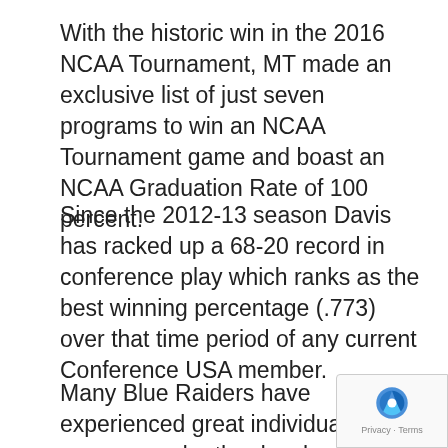With the historic win in the 2016 NCAA Tournament, MT made an exclusive list of just seven programs to win an NCAA Tournament game and boast an NCAA Graduation Rate of 100 percent.
Since the 2012-13 season Davis has racked up a 68-20 record in conference play which ranks as the best winning percentage (.773) over that time period of any current Conference USA member.
Many Blue Raiders have experienced great individual success under the development of Davis as well, including 2012 Sun Belt Player of the Year, LeBron Dandy; 2014 C-USA Player...